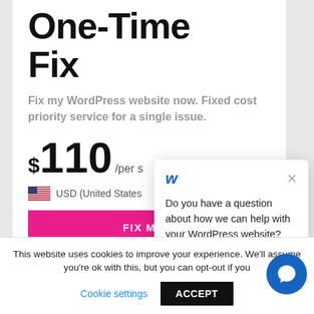One-Time Fix
Fix my WordPress website now. Fixed cost priority service for a single issue.
$110 /per s
USD (United States
FIX MY S
OR FREE WIT
Do you have a question about how we can help with your WordPress website? LIVE CHAT with our team - we're here to help 24/7
This website uses cookies to improve your experience. We'll assume you're ok with this, but you can opt-out if you
Cookie settings
ACCEPT